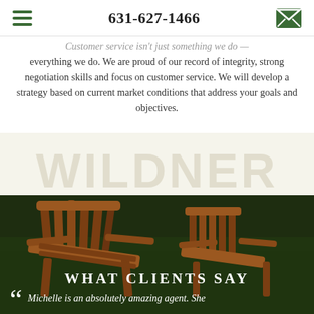631-627-1466
Customer service isn't just something we do — everything we do. We are proud of our record of integrity, strong negotiation skills and focus on customer service. We will develop a strategy based on current market conditions that address your goals and objectives.
[Figure (photo): Wooden Adirondack chair on green grass, serving as background for real estate agent website]
WHAT CLIENTS SAY
Michelle is an absolutely amazing agent. She